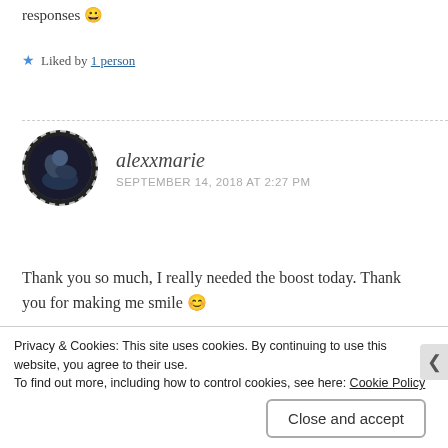responses 😀
★ Liked by 1 person
alexxmarie — SEPTEMBER 14, 2018 AT 2:27 PM
Thank you so much, I really needed the boost today. Thank you for making me smile 😊
★ Liked by 1 person
Privacy & Cookies: This site uses cookies. By continuing to use this website, you agree to their use. To find out more, including how to control cookies, see here: Cookie Policy
Close and accept